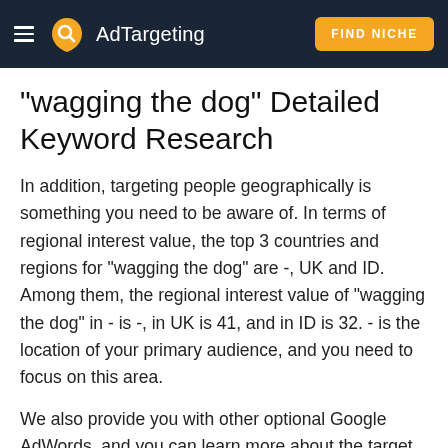AdTargeting | FIND NICHE
"wagging the dog" Detailed Keyword Research
In addition, targeting people geographically is something you need to be aware of. In terms of regional interest value, the top 3 countries and regions for "wagging the dog" are -, UK and ID. Among them, the regional interest value of "wagging the dog" in - is -, in UK is 41, and in ID is 32. - is the location of your primary audience, and you need to focus on this area.
We also provide you with other optional Google AdWords, and you can learn more about the target